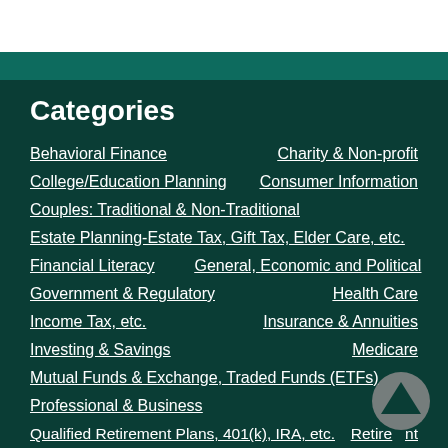Categories
Behavioral Finance
Charity & Non-profit
College/Education Planning
Consumer Information
Couples: Traditional & Non-Traditional
Estate Planning-Estate Tax, Gift Tax, Elder Care, etc.
Financial Literacy
General, Economic and Political
Government & Regulatory
Health Care
Income Tax, etc.
Insurance & Annuities
Investing & Savings
Medicare
Mutual Funds & Exchange, Traded Funds (ETFs)
Professional & Business
Qualified Retirement Plans, 401(k), IRA, etc.
Retirement
Social Security
Uncategorized